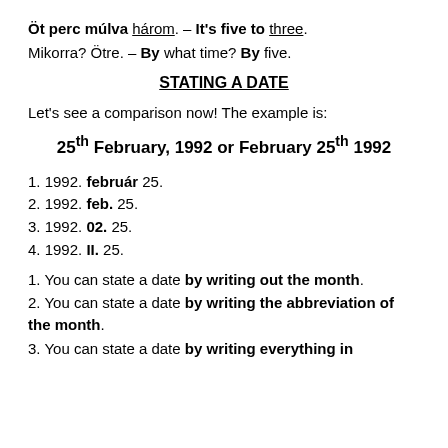Öt perc múlva három. – It's five to three.
Mikorra? Ötre. – By what time? By five.
STATING A DATE
Let's see a comparison now! The example is:
25th February, 1992 or February 25th 1992
1. 1992. február 25.
2. 1992. feb. 25.
3. 1992. 02. 25.
4. 1992. II. 25.
1. You can state a date by writing out the month.
2. You can state a date by writing the abbreviation of the month.
3. You can state a date by writing everything in